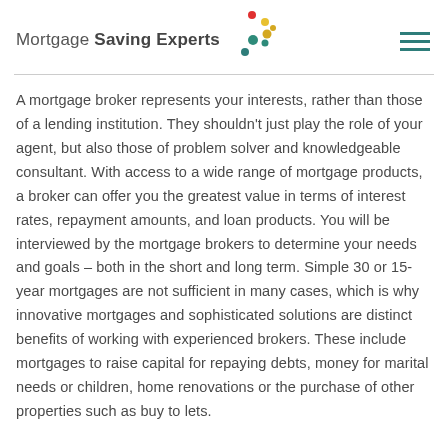Mortgage Saving Experts
A mortgage broker represents your interests, rather than those of a lending institution. They shouldn't just play the role of your agent, but also those of problem solver and knowledgeable consultant. With access to a wide range of mortgage products, a broker can offer you the greatest value in terms of interest rates, repayment amounts, and loan products. You will be interviewed by the mortgage brokers to determine your needs and goals – both in the short and long term. Simple 30 or 15-year mortgages are not sufficient in many cases, which is why innovative mortgages and sophisticated solutions are distinct benefits of working with experienced brokers. These include mortgages to raise capital for repaying debts, money for marital needs or children, home renovations or the purchase of other properties such as buy to lets.